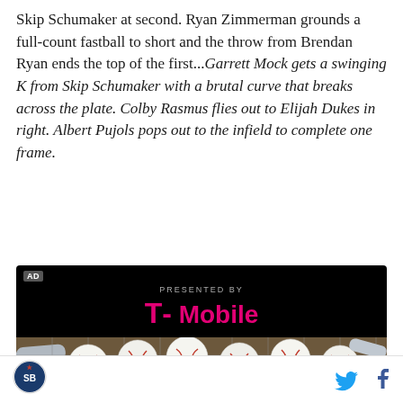Skip Schumaker at second. Ryan Zimmerman grounds a full-count fastball to short and the throw from Brendan Ryan ends the top of the first...Garrett Mock gets a swinging K from Skip Schumaker with a brutal curve that breaks across the plate. Colby Rasmus flies out to Elijah Dukes in right. Albert Pujols pops out to the infield to complete one frame.
[Figure (photo): Advertisement banner showing T-Mobile branding with PRESENTED BY text above, followed by a photo of baseballs in a wire container/cage with metal bats visible]